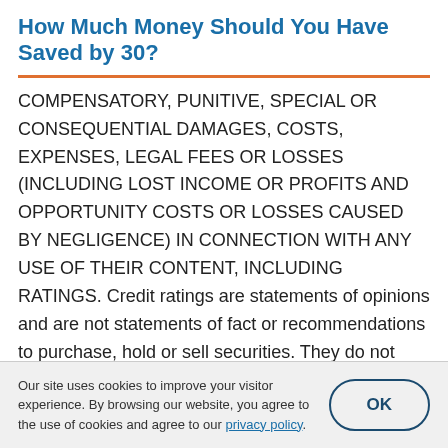How Much Money Should You Have Saved by 30?
COMPENSATORY, PUNITIVE, SPECIAL OR CONSEQUENTIAL DAMAGES, COSTS, EXPENSES, LEGAL FEES OR LOSSES (INCLUDING LOST INCOME OR PROFITS AND OPPORTUNITY COSTS OR LOSSES CAUSED BY NEGLIGENCE) IN CONNECTION WITH ANY USE OF THEIR CONTENT, INCLUDING RATINGS. Credit ratings are statements of opinions and are not statements of fact or recommendations to purchase, hold or sell securities. They do not address the suitability of securities or the
Our site uses cookies to improve your visitor experience. By browsing our website, you agree to the use of cookies and agree to our privacy policy.